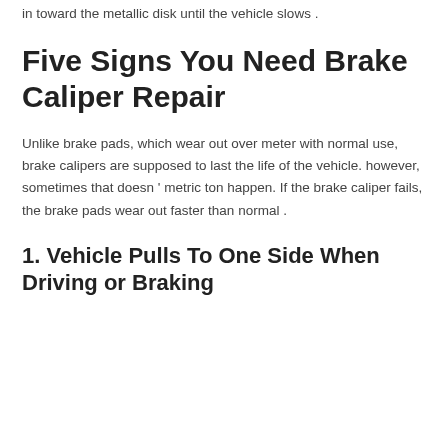in toward the metallic disk until the vehicle slows .
Five Signs You Need Brake Caliper Repair
Unlike brake pads, which wear out over meter with normal use, brake calipers are supposed to last the life of the vehicle. however, sometimes that doesn ' metric ton happen. If the brake caliper fails, the brake pads wear out faster than normal .
1. Vehicle Pulls To One Side When Driving or Braking